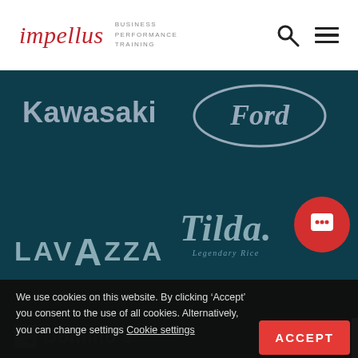[Figure (logo): Impellus Business Performance Training logo with search and hamburger menu icons in header]
[Figure (logo): Dark teal banner with Kawasaki, Ford, Lavazza, and Tilda logos on dark background]
We use cookies on this website. By clicking ‘Accept’ you consent to the use of all cookies. Alternatively, you can change settings Cookie settings
[Figure (logo): Domino's logo partially visible at bottom]